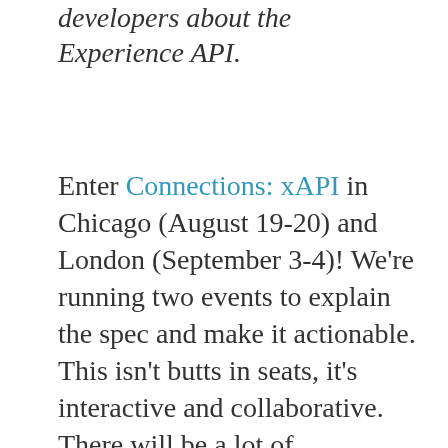developers about the Experience API.
Enter Connections: xAPI in Chicago (August 19-20) and London (September 3-4)! We're running two events to explain the spec and make it actionable. This isn't butts in seats, it's interactive and collaborative. There will be a lot of information shared and captured for you to access, but more importantly you will